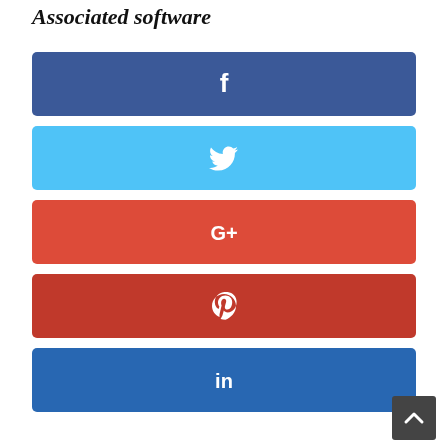Associated software
[Figure (infographic): Five social media share buttons stacked vertically: Facebook (dark blue, 'f' icon), Twitter (light blue, bird icon), Google+ (red-orange, 'G+' icon), Pinterest (dark red, 'P' icon), LinkedIn (medium blue, 'in' icon)]
[Figure (other): Back to top button (dark grey arrow up)]